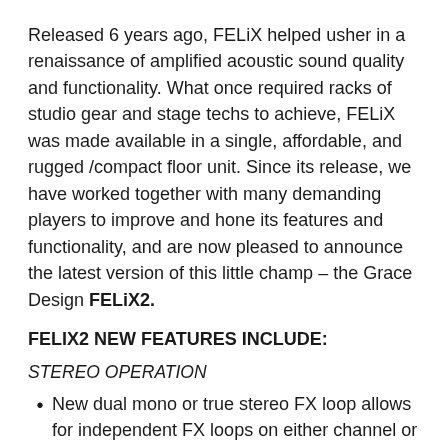Released 6 years ago, FELiX helped usher in a renaissance of amplified acoustic sound quality and functionality. What once required racks of studio gear and stage techs to achieve, FELiX was made available in a single, affordable, and rugged /compact floor unit. Since its release, we have worked together with many demanding players to improve and hone its features and functionality, and are now pleased to announce the latest version of this little champ – the Grace Design FELiX2.
FELIX2 NEW FEATURES INCLUDE:
STEREO OPERATION
New dual mono or true stereo FX loop allows for independent FX loops on either channel or stereo FX operation with mono or stereo in
Stereo amp output for connecting to stereo stage